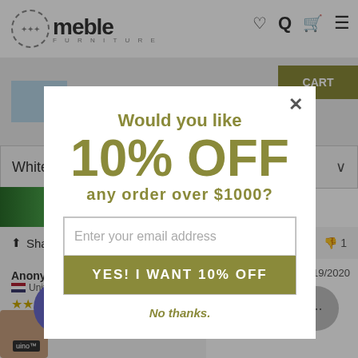[Figure (screenshot): Background: Meble Furniture e-commerce website with navigation bar, product listing, color dropdown (White), green product image strip, share bar, and anonymous review section. A modal popup overlays the page.]
Would you like 10% OFF any order over $1000?
Enter your email address
YES! I WANT 10% OFF
No thanks.